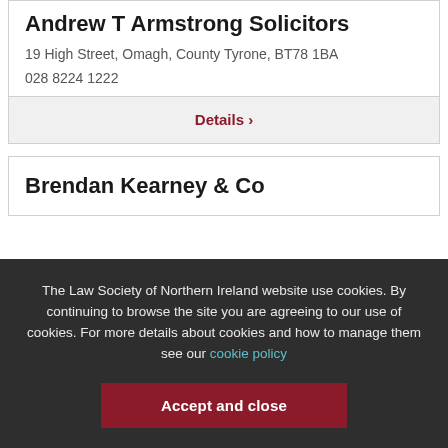Andrew T Armstrong Solicitors
19 High Street, Omagh, County Tyrone, BT78 1BA
028 8224 1222
Details ›
Brendan Kearney & Co
The Law Society of Northern Ireland website use cookies. By continuing to browse the site you are agreeing to our use of cookies. For more details about cookies and how to manage them see our cookie policy
Accept and close